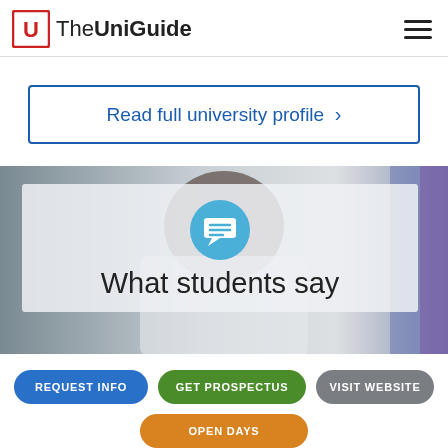TheUniGuide
Read full university profile >
[Figure (screenshot): Banner image showing a student wearing a lab coat, with an overlay panel containing a blue chat bubble icon and the text 'What students say']
REQUEST INFO | GET PROSPECTUS | VISIT WEBSITE | OPEN DAYS